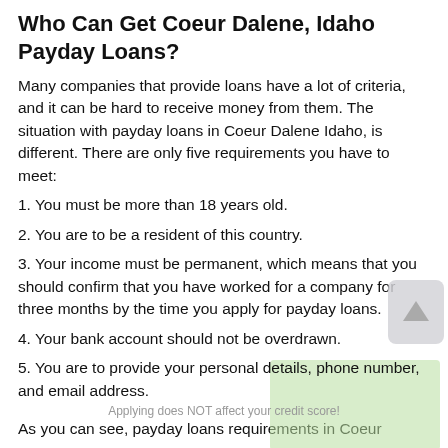Who Can Get Coeur Dalene, Idaho Payday Loans?
Many companies that provide loans have a lot of criteria, and it can be hard to receive money from them. The situation with payday loans in Coeur Dalene Idaho, is different. There are only five requirements you have to meet:
1. You must be more than 18 years old.
2. You are to be a resident of this country.
3. Your income must be permanent, which means that you should confirm that you have worked for a company for three months by the time you apply for payday loans.
4. Your bank account should not be overdrawn.
5. You are to provide your personal details, phone number, and email address.
Applying does NOT affect your credit score!
As you can see, payday loans requirements in Coeur Dalene Idaho are not very complex. The text below the...